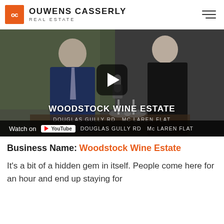OC OUWENS CASSERLY REAL ESTATE
[Figure (screenshot): Video thumbnail showing two men — one in a navy suit and one in a black chef uniform — being interviewed outdoors at Woodstock Wine Estate. A microphone is visible. A play button overlay is shown. Text overlays read: WOODSTOCK WINE ESTATE, DOUGLAS GULLY RD McLAREN FLAT. Bottom bar shows Watch on YouTube.]
Business Name: Woodstock Wine Estate
It's a bit of a hidden gem in itself. People come here for an hour and end up staying for